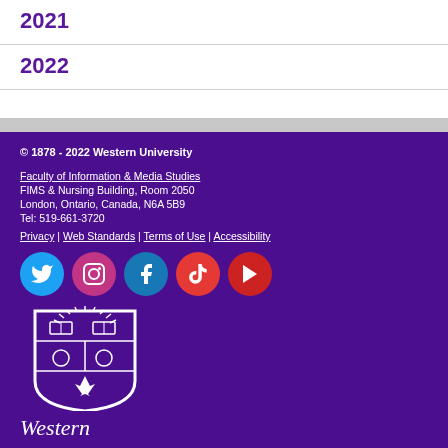2021
2022
© 1878 - 2022 Western University
Faculty of Information & Media Studies
FIMS & Nursing Building, Room 2050
London, Ontario, Canada, N6A 5B9
Tel: 519-661-3720
Privacy | Web Standards | Terms of Use | Accessibility
[Figure (logo): Western University shield logo with text 'Western' below in white italic serif font on purple background]